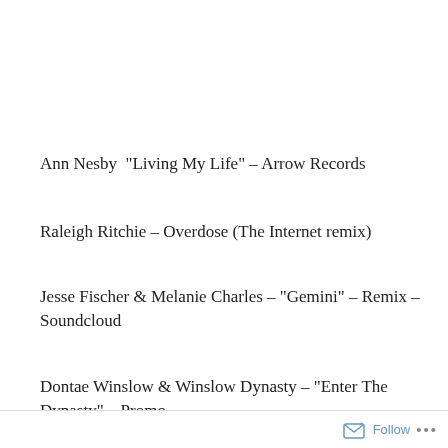Ann Nesby  “Living My Life” – Arrow Records
Raleigh Ritchie – Overdose (The Internet remix)
Jesse Fischer & Melanie Charles – “Gemini” – Remix – Soundcloud
Dontae Winslow & Winslow Dynasty – “Enter The Dynasty” – Promo.
Privacy & Cookies: This site uses cookies. By continuing to use this website, you agree to their use.
To find out more, including how to control cookies, see here: Cookie Policy
Close and accept